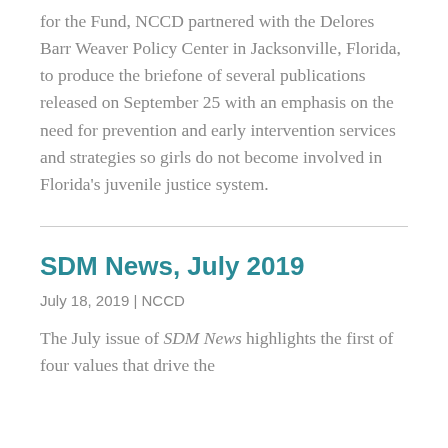for the Fund, NCCD partnered with the Delores Barr Weaver Policy Center in Jacksonville, Florida, to produce the brief--one of several publications released on September 25 with an emphasis on the need for prevention and early intervention services and strategies so girls do not become involved in Florida's juvenile justice system.
SDM News, July 2019
July 18, 2019 | NCCD
The July issue of SDM News highlights the first of four values that drive the